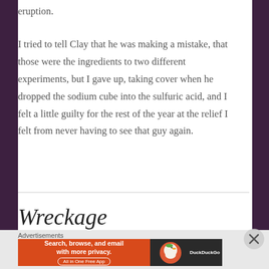eruption.
I tried to tell Clay that he was making a mistake, that those were the ingredients to two different experiments, but I gave up, taking cover when he dropped the sodium cube into the sulfuric acid, and I felt a little guilty for the rest of the year at the relief I felt from never having to see that guy again.
Wreckage
[Figure (infographic): DuckDuckGo advertisement banner: orange left section with text 'Search, browse, and email with more privacy. All in One Free App', dark right section with DuckDuckGo duck logo]